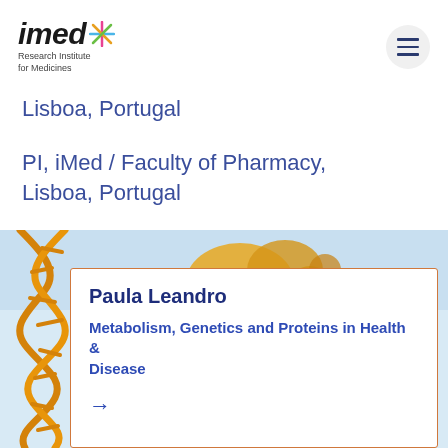[Figure (logo): iMed Research Institute for Medicines logo with colorful snowflake/asterisk symbol and hamburger menu icon]
Lisboa, Portugal
PI, iMed / Faculty of Pharmacy, Lisboa, Portugal
[Figure (illustration): Scientific illustration with DNA double helix in orange and molecular/protein structures on light blue background, with a white card overlay showing researcher profile]
Paula Leandro
Metabolism, Genetics and Proteins in Health & Disease
→